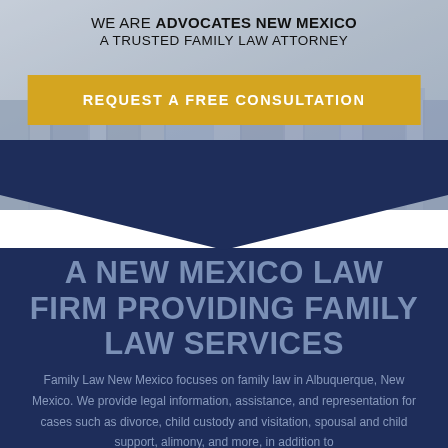[Figure (photo): Aerial city view of Albuquerque, New Mexico used as background image for law firm website]
WE ARE ADVOCATES NEW MEXICO A TRUSTED FAMILY LAW ATTORNEY
REQUEST A FREE CONSULTATION
A NEW MEXICO LAW FIRM PROVIDING FAMILY LAW SERVICES
Family Law New Mexico focuses on family law in Albuquerque, New Mexico. We provide legal information, assistance, and representation for cases such as divorce, child custody and visitation, spousal and child support, alimony, and more, in addition to...